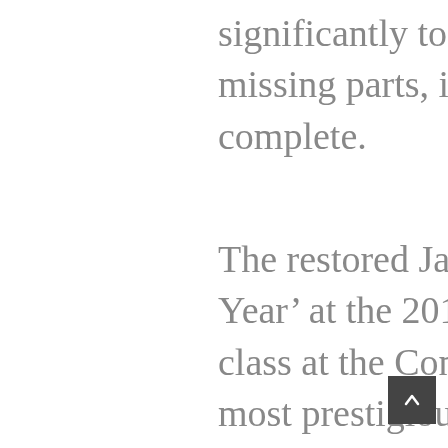significantly to the success of the project, as without the missing parts, it would have been impossible to complete.
The restored Jaguar went on to win ‘Restoration of the Year’ at the 2017 Octane Awards and came second in its class at the Concours d’Elegance which is one of the most prestigious car shows in